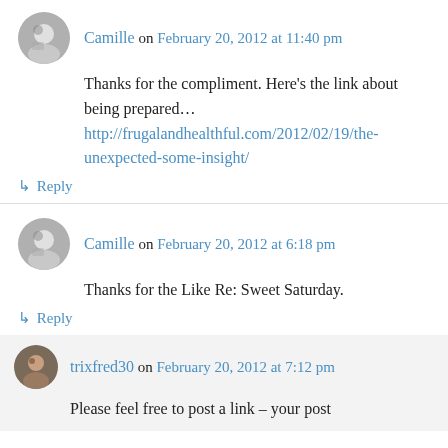Camille on February 20, 2012 at 11:40 pm
Thanks for the compliment. Here's the link about being prepared…
http://frugalandhealthful.com/2012/02/19/the-unexpected-some-insight/
↳ Reply
Camille on February 20, 2012 at 6:18 pm
Thanks for the Like Re: Sweet Saturday.
↳ Reply
trixfred30 on February 20, 2012 at 7:12 pm
Please feel free to post a link – your post